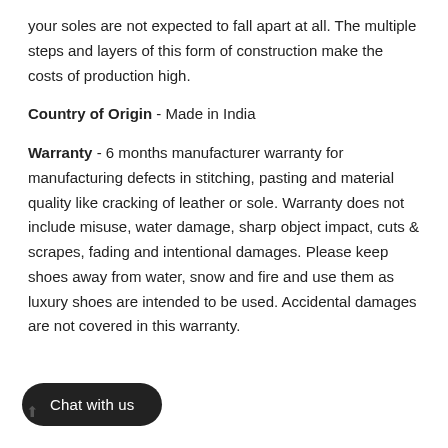your soles are not expected to fall apart at all. The multiple steps and layers of this form of construction make the costs of production high.
Country of Origin - Made in India
Warranty - 6 months manufacturer warranty for manufacturing defects in stitching, pasting and material quality like cracking of leather or sole. Warranty does not include misuse, water damage, sharp object impact, cuts & scrapes, fading and intentional damages. Please keep shoes away from water, snow and fire and use them as luxury shoes are intended to be used. Accidental damages are not covered in this warranty.